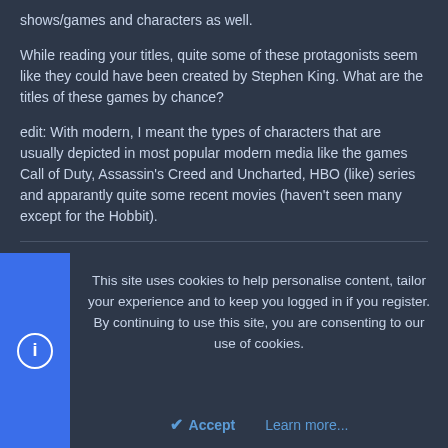shows/games and characters as well.
While reading your titles, quite some of these protagonists seem like they could have been created by Stephen King. What are the titles of these games by chance?
edit: With modern, I meant the types of characters that are usually depicted in most popular modern media like the games Call of Duty, Assassin's Creed and Uncharted, HBO (like) series and apparantly quite some recent movies (haven't seen many except for the Hobbit).
happyninja42
Elite Member Legacy
Feb 6, 2015  #14
This site uses cookies to help personalise content, tailor your experience and to keep you logged in if you register.
By continuing to use this site, you are consenting to our use of cookies.
Accept  Learn more...